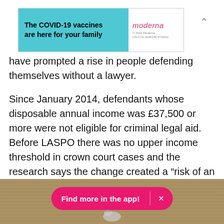[Figure (other): Moderna COVID-19 vaccine advertisement banner. Teal/cyan left section with bold text 'The COVID-19 vaccines are here for your family'. White right section with Moderna logo in pink/red italic font and small legal text '© 2022 Moderna US-COV-2200160 07/2022'.]
have prompted a rise in people defending themselves without a lawyer.
Since January 2014, defendants whose disposable annual income was £37,500 or more were not eligible for criminal legal aid. Before LASPO there was no upper income threshold in crown court cases and the research says the change created a “risk of an increase in unrepresented defendants in the crown court.”
[Figure (photo): Bottom portion of page showing a wooden surface/fence with a small animal figure (appears to be a decorative cow or similar) visible at the bottom center. A pink/magenta app promotion banner overlays the image reading 'Find more in the app!' with an X close button.]